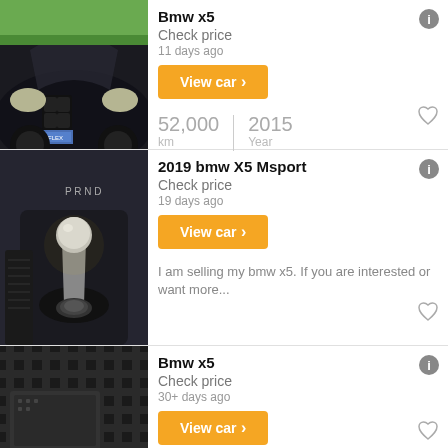[Figure (photo): Black BMW X5 SUV front view with blue license plate]
Bmw x5
Check price
11 days ago
View car ›
52,000 km | 2015 Year
[Figure (photo): BMW X5 interior gear shift close-up]
2019 bmw X5 Msport
Check price
19 days ago
View car ›
I am selling my bmw x5. If you are interested or want more...
[Figure (photo): BMW X5 interior floor mat and door sill close-up]
Bmw x5
Check price
30+ days ago
View car ›